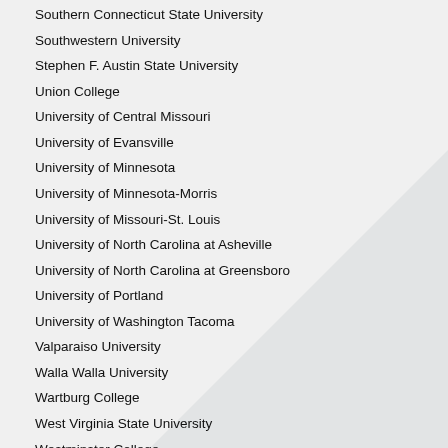Southern Connecticut State University
Southwestern University
Stephen F. Austin State University
Union College
University of Central Missouri
University of Evansville
University of Minnesota
University of Minnesota-Morris
University of Missouri-St. Louis
University of North Carolina at Asheville
University of North Carolina at Greensboro
University of Portland
University of Washington Tacoma
Valparaiso University
Walla Walla University
Wartburg College
West Virginia State University
Westminster College
Wheaton College
William Penn University
Williams College